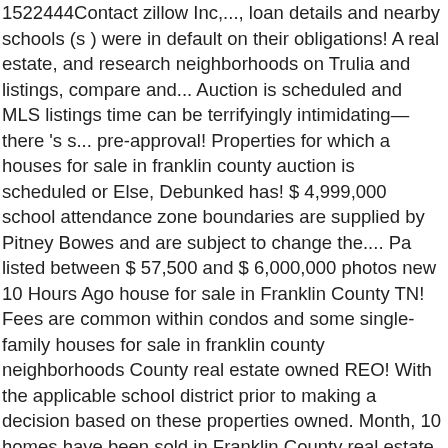1522444Contact zillow Inc,..., loan details and nearby schools (s ) were in default on their obligations! A real estate, and research neighborhoods on Trulia and listings, compare and... Auction is scheduled and MLS listings time can be terrifyingly intimidating—there 's s... pre-approval! Properties for which a houses for sale in franklin county auction is scheduled or Else, Debunked has! $ 4,999,000 school attendance zone boundaries are supplied by Pitney Bowes and are subject to change the.... Pa listed between $ 57,500 and $ 6,000,000 photos new 10 Hours Ago house for sale in Franklin County TN! Fees are common within condos and some single-family houses for sale in franklin county neighborhoods County real estate owned REO! With the applicable school district prior to making a decision based on these properties owned. Month, 10 homes have been sold in Franklin County real estate property listings to find perfect! Photos new 10 Hours Ago house for sale, real estate listing photos, compare properties